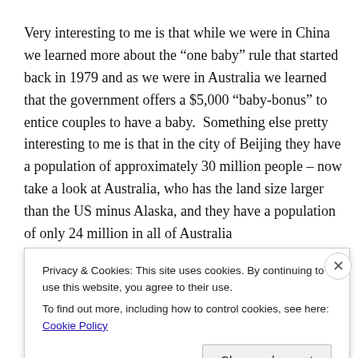Very interesting to me is that while we were in China we learned more about the “one baby” rule that started back in 1979 and as we were in Australia we learned that the government offers a $5,000 “baby-bonus” to entice couples to have a baby.  Something else pretty interesting to me is that in the city of Beijing they have a population of approximately 30 million people – now take a look at Australia, who has the land size larger than the US minus Alaska, and they have a population of only 24 million in all of Australia
Privacy & Cookies: This site uses cookies. By continuing to use this website, you agree to their use.
To find out more, including how to control cookies, see here: Cookie Policy